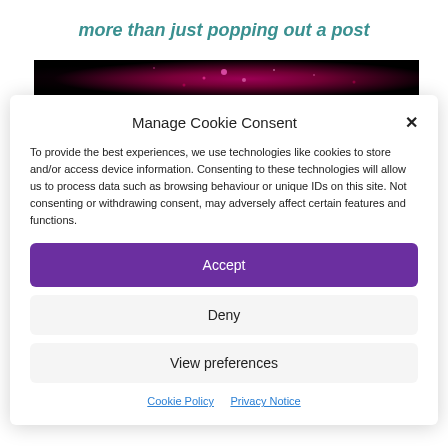more than just popping out a post
[Figure (photo): Dark background image with pink/magenta galaxy or bokeh light effect]
Manage Cookie Consent
To provide the best experiences, we use technologies like cookies to store and/or access device information. Consenting to these technologies will allow us to process data such as browsing behaviour or unique IDs on this site. Not consenting or withdrawing consent, may adversely affect certain features and functions.
Accept
Deny
View preferences
Cookie Policy  Privacy Notice